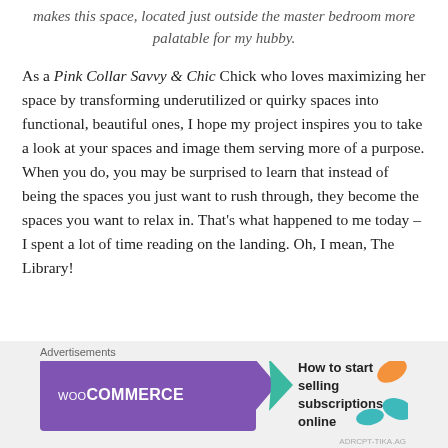makes this space, located just outside the master bedroom more palatable for my hubby.
As a Pink Collar Savvy & Chic Chick who loves maximizing her space by transforming underutilized or quirky spaces into functional, beautiful ones, I hope my project inspires you to take a look at your spaces and image them serving more of a purpose. When you do, you may be surprised to learn that instead of being the spaces you just want to rush through, they become the spaces you want to relax in. That's what happened to me today – I spent a lot of time reading on the landing. Oh, I mean, The Library!
[Figure (other): WooCommerce advertisement banner: purple background with WooCommerce logo and arrow, text 'How to start selling subscriptions online', decorative orange and teal leaf shapes on the right.]